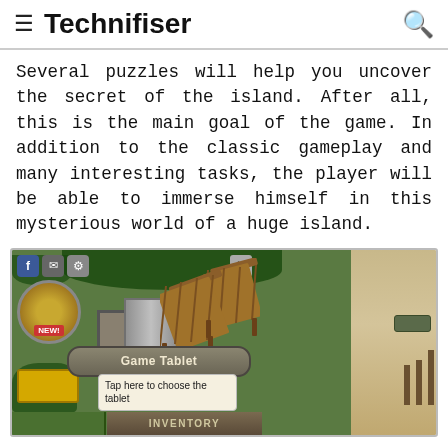Technifiser
Several puzzles will help you uncover the secret of the island. After all, this is the main goal of the game. In addition to the classic gameplay and many interesting tasks, the player will be able to immerse himself in this mysterious world of a huge island.
[Figure (screenshot): Game screenshot showing a tropical island scene with wooden lounge chairs, jungle vegetation, a mini-map, toolbar with Facebook/email/settings icons, a 'Game Tablet' button, a tooltip saying 'Tap here to choose the tablet', and an INVENTORY bar at the bottom.]